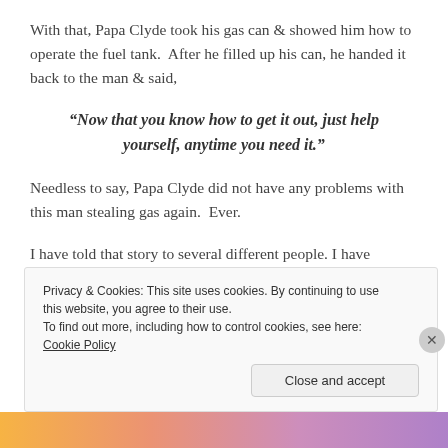With that, Papa Clyde took his gas can & showed him how to operate the fuel tank.  After he filled up his can, he handed it back to the man & said,
“Now that you know how to get it out, just help yourself, anytime you need it.”
Needless to say, Papa Clyde did not have any problems with this man stealing gas again.  Ever.
I have told that story to several different people. I have
Privacy & Cookies: This site uses cookies. By continuing to use this website, you agree to their use.
To find out more, including how to control cookies, see here: Cookie Policy
Close and accept